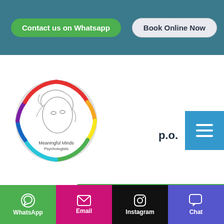[Figure (screenshot): Website header with two buttons: 'Contact us on Whatsapp' (green, rounded) and 'Book Online Now' (light grey, rounded) on a teal background]
[Figure (logo): Meaningful Minds Psychologists circular logo with a stylised woman's face and rainbow-coloured ring]
[Figure (infographic): Blue hamburger menu icon button on the right side]
Opening hours
Mon - Fri: 8am - 7pm
Sat: 8am - 2pm
Follow us on social med...
[Figure (infographic): Social media icons: Facebook, Instagram, LinkedIn]
[Figure (infographic): Back to top arrow button (white square with upward arrow)]
[Figure (infographic): Bottom action bar with four buttons: WhatsApp (green), Email (magenta), Instagram (black), Chat (blue/purple)]